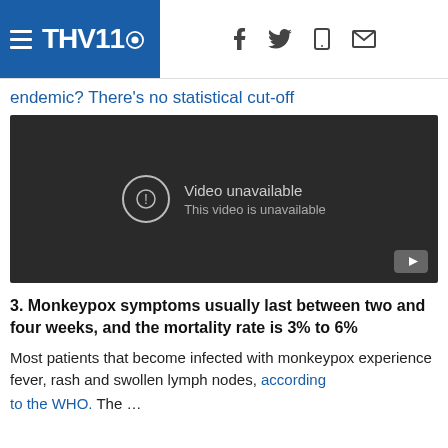THV11 (logo with CBS eye)
endemic? There’s no statistical cut-off
[Figure (screenshot): Embedded video player showing 'Video unavailable / This video is unavailable' message on a dark background with a YouTube play button in the bottom right corner.]
3. Monkeypox symptoms usually last between two and four weeks, and the mortality rate is 3% to 6%
Most patients that become infected with monkeypox experience fever, rash and swollen lymph nodes, according to the WHO. The ...